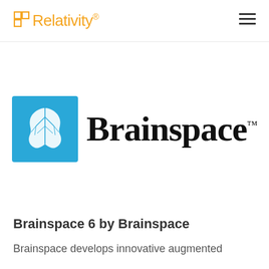Relativity
[Figure (logo): Brainspace logo: blue square with white brain/tree illustration on the left, and the bold text 'Brainspace' with a trademark symbol on the right]
Brainspace 6 by Brainspace
Brainspace develops innovative augmented